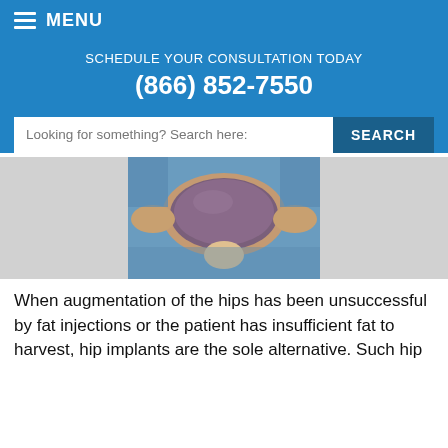MENU
SCHEDULE YOUR CONSULTATION TODAY
(866) 852-7550
Looking for something? Search here:
[Figure (photo): A surgical hip implant (silicone shell, oval/football-shaped) being held by gloved hands against a blue surgical drape, viewed from above.]
When augmentation of the hips has been unsuccessful by fat injections or the patient has insufficient fat to harvest, hip implants are the sole alternative. Such hip